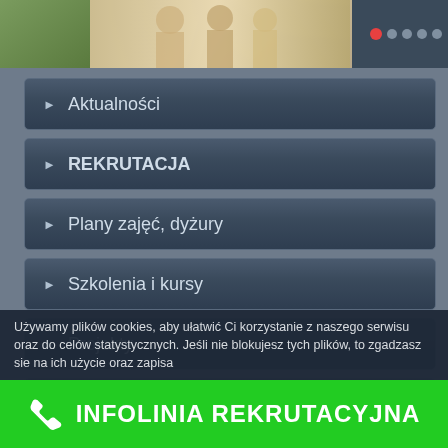[Figure (screenshot): Top banner with student photos and navigation dots (red active dot and grey dots)]
Aktualności
REKRUTACJA
Plany zajęć, dyżury
Szkolenia i kursy
Projekty
Współpraca zagraniczna
Biblioteka
Wydawnictwo
Wynajem
Używamy plików cookies, aby ułatwić Ci korzystanie z naszego serwisu oraz do celów statystycznych. Jeśli nie blokujesz tych plików, to zgadzasz sie na ich użycie oraz zapisa
INFOLINIA REKRUTACYJNA